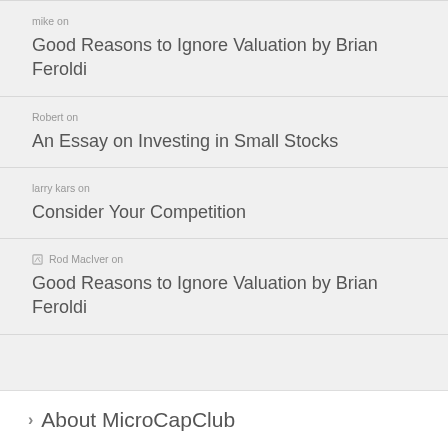mike on Good Reasons to Ignore Valuation by Brian Feroldi
Robert on An Essay on Investing in Small Stocks
larry kars on Consider Your Competition
Rod MacIver on Good Reasons to Ignore Valuation by Brian Feroldi
About MicroCapClub